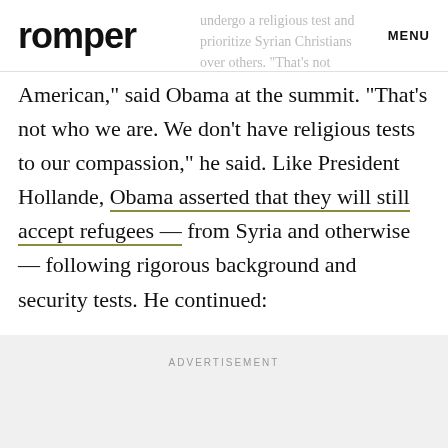romper  MENU
undergo a religious test and prioritize Syrian Christians over others. "That's not American," said Obama at the summit. "That's not who we are. We don't have religious tests to our compassion," he said. Like President Hollande, Obama asserted that they will still accept refugees — from Syria and otherwise — following rigorous background and security tests. He continued:
ADVERTISEMENT